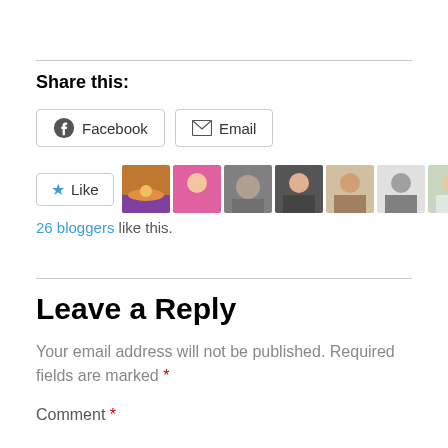Share this:
Facebook  Email
[Figure (other): Like button with star icon, followed by a row of 11 blogger avatar thumbnails]
26 bloggers like this.
Leave a Reply
Your email address will not be published. Required fields are marked *
Comment *